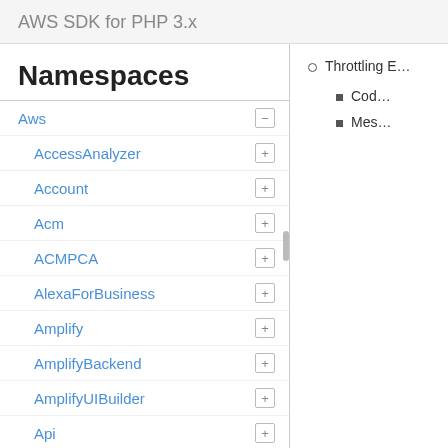AWS SDK for PHP 3.x
Namespaces
Aws
AccessAnalyzer
Account
Acm
ACMPCA
AlexaForBusiness
Amplify
AmplifyBackend
AmplifyUIBuilder
Api
ApiGateway
ApiGatewayManagementApi
Throttling E…
Code
Mes…